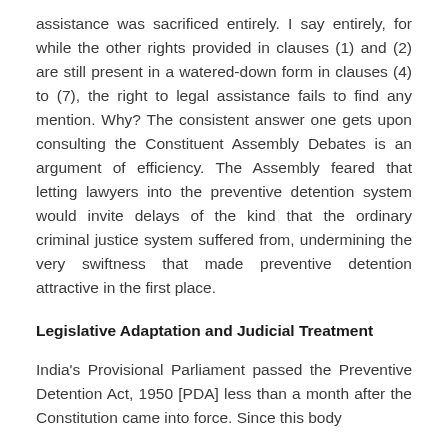assistance was sacrificed entirely. I say entirely, for while the other rights provided in clauses (1) and (2) are still present in a watered-down form in clauses (4) to (7), the right to legal assistance fails to find any mention. Why? The consistent answer one gets upon consulting the Constituent Assembly Debates is an argument of efficiency. The Assembly feared that letting lawyers into the preventive detention system would invite delays of the kind that the ordinary criminal justice system suffered from, undermining the very swiftness that made preventive detention attractive in the first place.
Legislative Adaptation and Judicial Treatment
India's Provisional Parliament passed the Preventive Detention Act, 1950 [PDA] less than a month after the Constitution came into force. Since this body